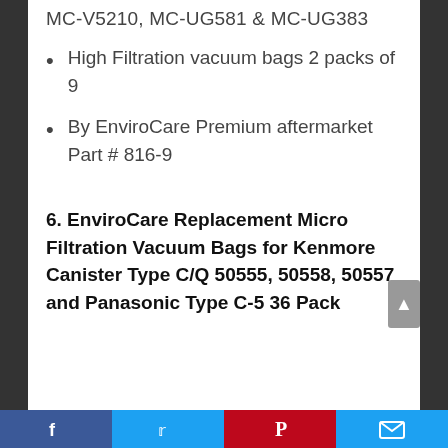MC-V5210, MC-UG581 & MC-UG383
High Filtration vacuum bags 2 packs of 9
By EnviroCare Premium aftermarket Part # 816-9
6. EnviroCare Replacement Micro Filtration Vacuum Bags for Kenmore Canister Type C/Q 50555, 50558, 50557 and Panasonic Type C-5 36 Pack
[Figure (other): Social media share bar with Facebook, Twitter, Pinterest, and email icons]